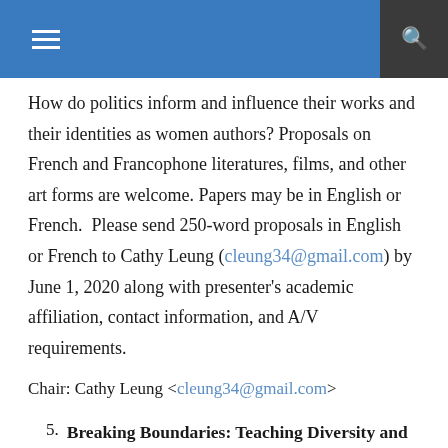How do politics inform and influence their works and their identities as women authors? Proposals on French and Francophone literatures, films, and other art forms are welcome. Papers may be in English or French.  Please send 250-word proposals in English or French to Cathy Leung (cleung34@gmail.com) by June 1, 2020 along with presenter's academic affiliation, contact information, and A/V requirements.
Chair: Cathy Leung <cleung34@gmail.com>
5. Breaking Boundaries: Teaching Diversity and Inclusion in the French Classroom